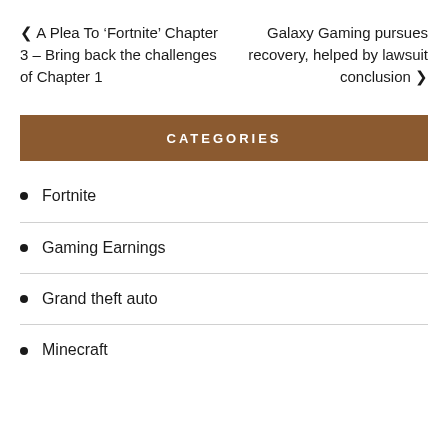← A Plea To 'Fortnite' Chapter 3 – Bring back the challenges of Chapter 1
Galaxy Gaming pursues recovery, helped by lawsuit conclusion →
CATEGORIES
Fortnite
Gaming Earnings
Grand theft auto
Minecraft